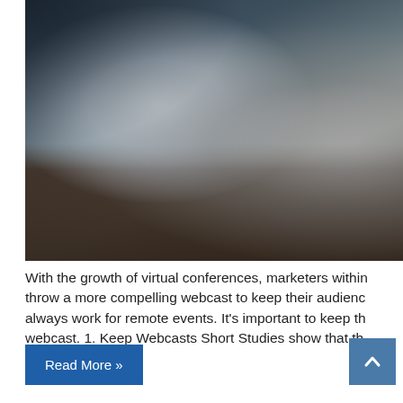[Figure (photo): A person sitting at a desk working at a computer (seen from behind the monitor). The back of a large silver iMac-style monitor is visible in the foreground. The person is wearing a grey sweater and reaching toward the keyboard. Papers and a keyboard are on the dark desk. Office background with plants and shelving.]
With the growth of virtual conferences, marketers within throw a more compelling webcast to keep their audienc always work for remote events. It's important to keep th webcast. 1. Keep Webcasts Short Studies show that th
Read More »